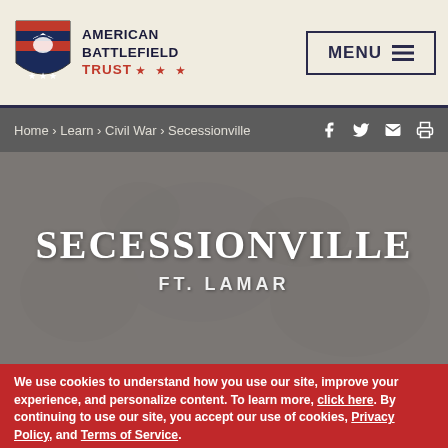[Figure (logo): American Battlefield Trust logo with shield emblem and organization name]
MENU ≡
Home › Learn › Civil War › Secessionville
Secessionville
FT. LAMAR
We use cookies to understand how you use our site, improve your experience, and personalize content. To learn more, click here. By continuing to use our site, you accept our use of cookies, Privacy Policy, and Terms of Service.
I agree   More info   Reject cookies